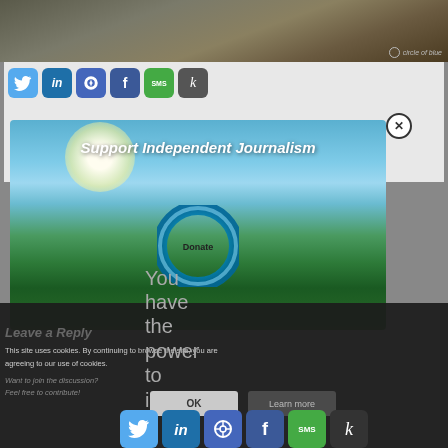[Figure (photo): Aerial photo of industrial/oil facility with circle of blue watermark in bottom right]
[Figure (screenshot): Social media sharing icons row: Twitter, LinkedIn, Link, Facebook, SMS, Kinja (k)]
[Figure (infographic): Modal popup with scenic green field and blue sky background. Text reads: Support Independent Journalism. Blue ring Donate button in center.]
You have the power to inform
This site uses cookies. By continuing to browse the site, you are agreeing to our use of cookies.
Leave a Reply
Want to join the discussion?
Feel free to contribute!
OK
Learn more
[Figure (screenshot): Bottom social media sharing icons row: Twitter, LinkedIn, Link, Facebook, SMS, Kinja (k)]